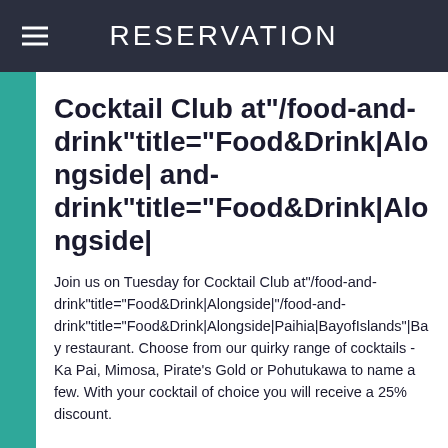RESERVATION
Cocktail Club at"/food-and-drink"title="Food&Drink|Alongside| and-drink"title="Food&Drink|Alongside|
Join us on Tuesday for Cocktail Club at"/food-and-drink"title="Food&Drink|Alongside|"/food-and-drink"title="Food&Drink|Alongside|Paihia|BayofIslands"|Bay restaurant. Choose from our quirky range of cocktails - Ka Pai, Mimosa, Pirate's Gold or Pohutukawa to name a few. With your cocktail of choice you will receive a 25% discount.